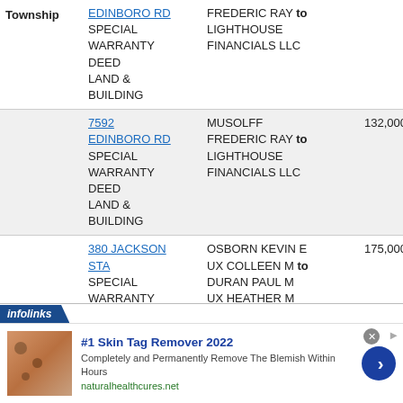| Township | Address / Deed Type | Parties | Amount | Date |
| --- | --- | --- | --- | --- |
| Township | EDINBORO RD
SPECIAL WARRANTY DEED
LAND & BUILDING | FREDERIC RAY to LIGHTHOUSE FINANCIALS LLC |  |  |
|  | 7592 EDINBORO RD
SPECIAL WARRANTY DEED
LAND & BUILDING | MUSOLFF FREDERIC RAY to LIGHTHOUSE FINANCIALS LLC | 132,000 | 5/11/202 |
|  | 380 JACKSON STA
SPECIAL WARRANTY DEED | OSBORN KEVIN E UX COLLEEN M to DURAN PAUL M UX HEATHER M | 175,000 | 5/10/202 |
[Figure (screenshot): Infolinks advertisement banner for '#1 Skin Tag Remover 2022' by naturalhealthcures.net showing a skin close-up image, ad title, description, and a blue arrow button.]